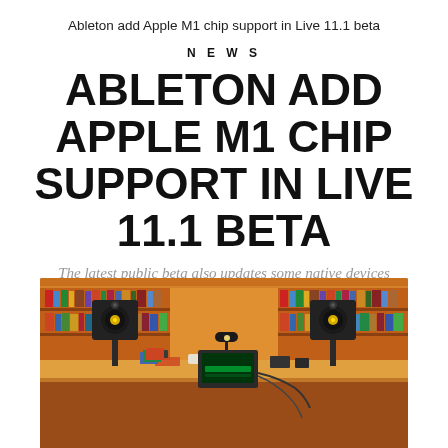Ableton add Apple M1 chip support in Live 11.1 beta
NEWS
ABLETON ADD APPLE M1 CHIP SUPPORT IN LIVE 11.1 BETA
The latest public beta also updates some native devices
[Figure (photo): A music production studio setup with two KRK yellow studio monitor speakers on stands flanking a desk, with a laptop running Ableton Live, a lamp, various cables and equipment, and bookshelves filled with books in the background. Warm orange-red ambient lighting.]